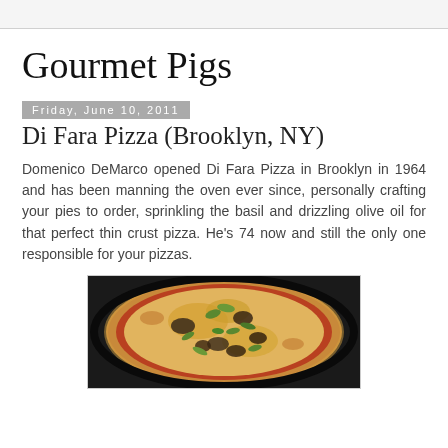Gourmet Pigs
Friday, June 10, 2011
Di Fara Pizza (Brooklyn, NY)
Domenico DeMarco opened Di Fara Pizza in Brooklyn in 1964 and has been manning the oven ever since, personally crafting your pies to order, sprinkling the basil and drizzling olive oil for that perfect thin crust pizza. He's 74 now and still the only one responsible for your pizzas.
[Figure (photo): Close-up photo of a thin crust pizza with fresh herbs (basil), melted cheese, tomato sauce, and various toppings, served in a pan.]